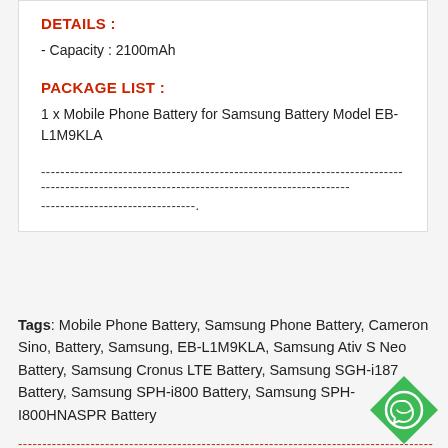DETAILS :
- Capacity : 2100mAh
PACKAGE LIST :
1 x Mobile Phone Battery for Samsung Battery Model EB-L1M9KLA
------------------------------------------------------------------------------------------------- ---------------------------------.
Tags: Mobile Phone Battery, Samsung Phone Battery, Cameron Sino, Battery, Samsung, EB-L1M9KLA, Samsung Ativ S Neo Battery, Samsung Cronus LTE Battery, Samsung SGH-i187 Battery, Samsung SPH-i800 Battery, Samsung SPH-I800HNASPR Battery
----------------------------------------------------------------------------------------------
---------
Cannot find your battery model ? Please contact us for